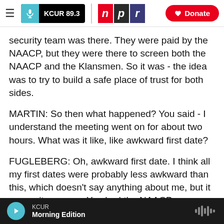KCUR 89.3 | npr | Donate
security team was there. They were paid by the NAACP, but they were there to screen both the NAACP and the Klansmen. So it was - the idea was to try to build a safe place of trust for both sides.
MARTIN: So then what happened? You said - I understand the meeting went on for about two hours. What was it like, like awkward first date?
FUGLEBERG: Oh, awkward first date. I think all my first dates were probably less awkward than this, which doesn't say anything about me, but it was quite a room. You had the NAACP on one side of
KCUR | Morning Edition